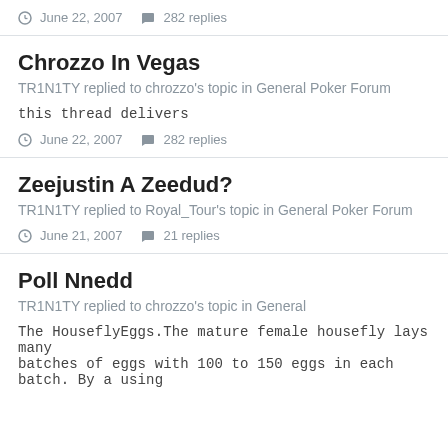June 22, 2007  282 replies
Chrozzo In Vegas
TR1N1TY replied to chrozzo's topic in General Poker Forum
this thread delivers
June 22, 2007  282 replies
Zeejustin A Zeedud?
TR1N1TY replied to Royal_Tour's topic in General Poker Forum
June 21, 2007  21 replies
Poll Nnedd
TR1N1TY replied to chrozzo's topic in General
The HouseflyEggs.The mature female housefly lays many batches of eggs with 100 to 150 eggs in each batch. By a using